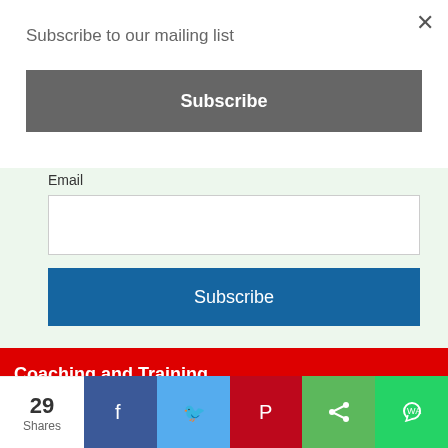×
Subscribe to our mailing list
Subscribe
Email
Subscribe
Coaching and Training
POWERED BY
[Figure (logo): ICF International Coaching Federation logo]
29 Shares
[Figure (infographic): Social share bar with Facebook, Twitter, Pinterest, Share, and WhatsApp buttons]